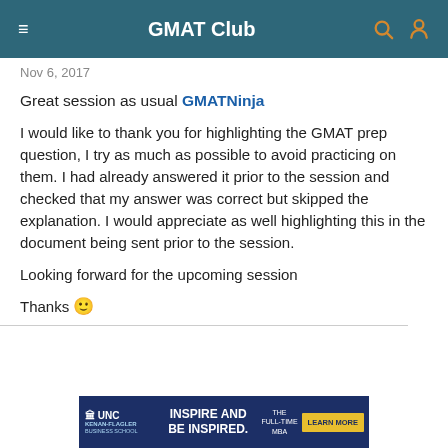GMAT Club
Nov 6, 2017
Great session as usual GMATNinja
I would like to thank you for highlighting the GMAT prep question, I try as much as possible to avoid practicing on them. I had already answered it prior to the session and checked that my answer was correct but skipped the explanation. I would appreciate as well highlighting this in the document being sent prior to the session.
Looking forward for the upcoming session
Thanks 🙂
[Figure (infographic): UNC Kenan-Flagler Business School advertisement banner reading INSPIRE AND BE INSPIRED. THE FULL-TIME MBA with a LEARN MORE button]